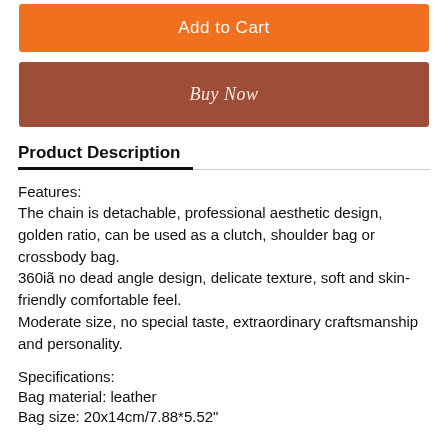Add to Cart
Buy Now
Product Description
Features:
The chain is detachable, professional aesthetic design, golden ratio, can be used as a clutch, shoulder bag or crossbody bag.
360iã no dead angle design, delicate texture, soft and skin-friendly comfortable feel.
Moderate size, no special taste, extraordinary craftsmanship and personality.
Specifications:
Bag material: leather
Bag size: 20x14cm/7.88*5.52"